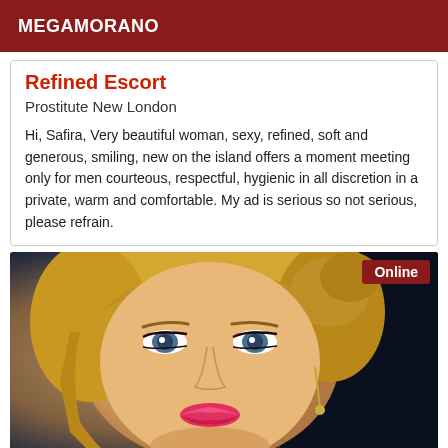MEGAMORANO
Refined Escort
Prostitute New London
Hi, Safira, Very beautiful woman, sexy, refined, soft and generous, smiling, new on the island offers a moment meeting only for men courteous, respectful, hygienic in all discretion in a private, warm and comfortable. My ad is serious so not serious, please refrain.
[Figure (photo): Close-up photo of a blonde woman with blue eyes and pink lips, with an 'Online' badge in the top right corner.]